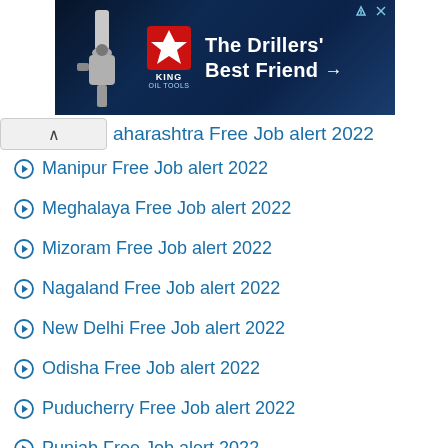[Figure (screenshot): Advertisement banner for King Oil Tools - The Drillers' Best Friend]
aharashtra Free Job alert 2022
Manipur Free Job alert 2022
Meghalaya Free Job alert 2022
Mizoram Free Job alert 2022
Nagaland Free Job alert 2022
New Delhi Free Job alert 2022
Odisha Free Job alert 2022
Puducherry Free Job alert 2022
Punjab Free Job alert 2022
Rajasthan Free Job alert 2022
Sikkim Free Job alert 2022
Tamil Nadu Free Job alert 2022